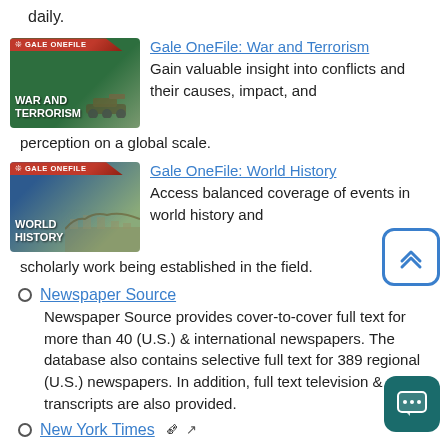daily.
[Figure (illustration): Gale OneFile: War and Terrorism database banner with red Gale OneFile badge and military imagery]
Gale OneFile: War and Terrorism
Gain valuable insight into conflicts and their causes, impact, and perception on a global scale.
[Figure (illustration): Gale OneFile: World History database banner with red Gale OneFile badge and Great Wall imagery]
Gale OneFile: World History
Access balanced coverage of events in world history and scholarly work being established in the field.
Newspaper Source
Newspaper Source provides cover-to-cover full text for more than 40 (U.S.) & international newspapers. The database also contains selective full text for 389 regional (U.S.) newspapers. In addition, full text television & news transcripts are also provided.
New York Times